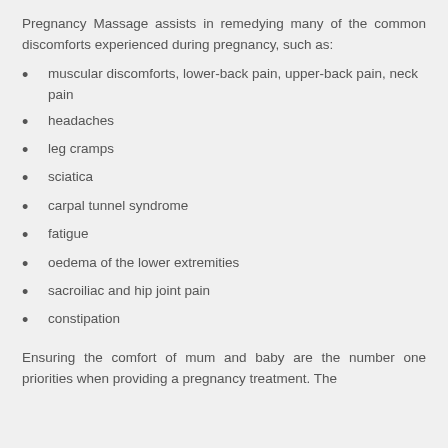Pregnancy Massage assists in remedying many of the common discomforts experienced during pregnancy, such as:
muscular discomforts, lower-back pain, upper-back pain, neck pain
headaches
leg cramps
sciatica
carpal tunnel syndrome
fatigue
oedema of the lower extremities
sacroiliac and hip joint pain
constipation
Ensuring the comfort of mum and baby are the number one priorities when providing a pregnancy treatment. The